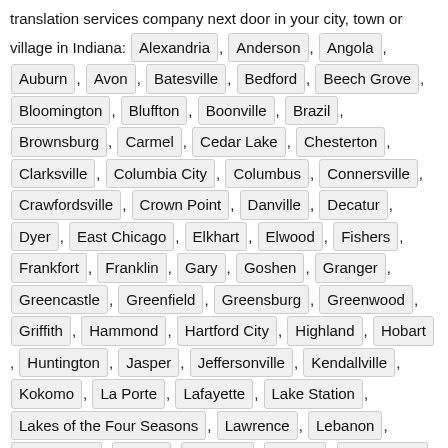translation services company next door in your city, town or village in Indiana: Alexandria, Anderson, Angola, Auburn, Avon, Batesville, Bedford, Beech Grove, Bloomington, Bluffton, Boonville, Brazil, Brownsburg, Carmel, Cedar Lake, Chesterton, Clarksville, Columbia City, Columbus, Connersville, Crawfordsville, Crown Point, Danville, Decatur, Dyer, East Chicago, Elkhart, Elwood, Fishers, Frankfort, Franklin, Gary, Goshen, Granger, Greencastle, Greenfield, Greensburg, Greenwood, Griffith, Hammond, Hartford City, Highland, Hobart, Huntington, Jasper, Jeffersonville, Kendallville, Kokomo, La Porte, Lafayette, Lake Station, Lakes of the Four Seasons, Lawrence, Lebanon, Logansport, Lowell, Madison, Marion, Martinsville, Merrillville, Michigan City, Mishawaka, Mooresville, Mount Vernon, Muncie, Munster, Nappanee,